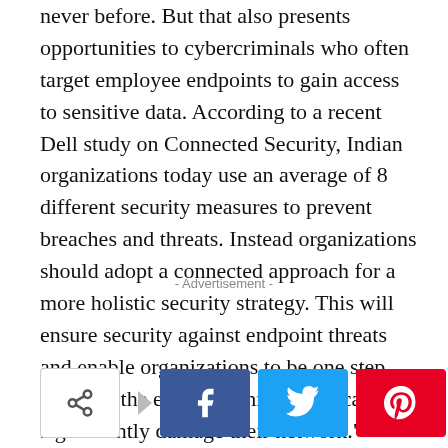never before. But that also presents opportunities to cybercriminals who often target employee endpoints to gain access to sensitive data. According to a recent Dell study on Connected Security, Indian organizations today use an average of 8 different security measures to prevent breaches and threats. Instead organizations should adopt a connected approach for a more holistic security strategy. This will ensure security against endpoint threats and enable organizations to be one step ahead of the epidemic threats that can significantly damage their network."
- Advertisement -
[Figure (other): Social share bar with native share button, Facebook, Twitter, Pinterest, and WhatsApp buttons]